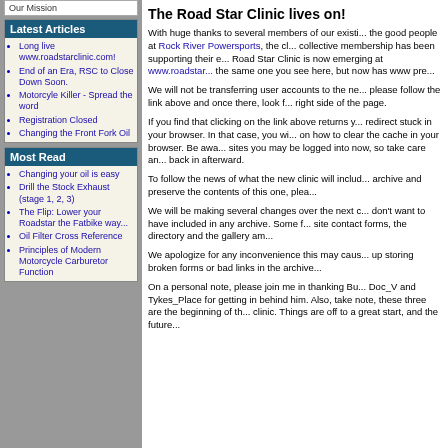Our Mission
Latest Articles
Long live www.roadstarclinic.com!
End of an Era, RSC to Close Down Soon.
Motorcyle Killer - Spread the word
Registration Closed
Changing the Front Fork Oil
Most Read
Changing your oil is easy
Drill the Stock Exhaust (stage 1, 2, 3)
The Flip: Lower your Roadstar the Fatbike way...
Oil Filter Cross Reference
Principles of Modern Motorcycle Carburetor Function
The Road Star Clinic lives on!
With huge thanks to several members of our existing community, and the good people at Rock River Powersports, the clinic's collective membership has been supporting their efforts. Road Star Clinic is now emerging at www.roadstarclinic.com the same one you see here, but now has www presence.
We will not be transferring user accounts to the new site, so please follow the link above and once there, look for a register link on the right side of the page.
If you find that clicking on the link above returns you here, you may have a redirect stuck in your browser. In that case, you will need to find instructions on how to clear the cache in your browser. Be aware that you will get logged out of sites you may be logged into now, so take care and plan to have to log back in afterward.
To follow the news of what the new clinic will include, and to help archive and preserve the contents of this one, please...
We will be making several changes over the next days to remove items we don't want to have included in any archive. Some items like the forum, on-site contact forms, the directory and the gallery am...
We apologize for any inconvenience this may cause, and to avoid ending up storing broken forms or bad links in the archive...
On a personal note, please join me in thanking Bu... Doc_V and Tykes_Place for getting in behind him. Also, take note, these three are the beginning of the clinic. Things are off to a great start, and the future...